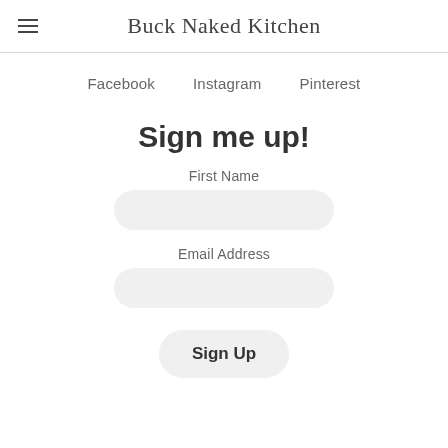Buck Naked Kitchen
Facebook    Instagram    Pinterest
Sign me up!
First Name
Email Address
Sign Up